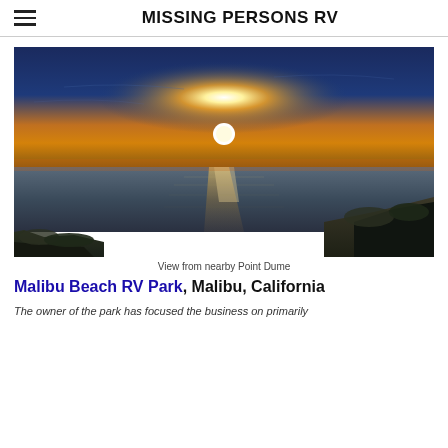MISSING PERSONS RV
[Figure (photo): Sunset over the ocean viewed from nearby Point Dume, with golden light reflecting on the water and rocky cliffs in the foreground.]
View from nearby Point Dume
Malibu Beach RV Park, Malibu, California
The owner of the park has focused the business on primarily